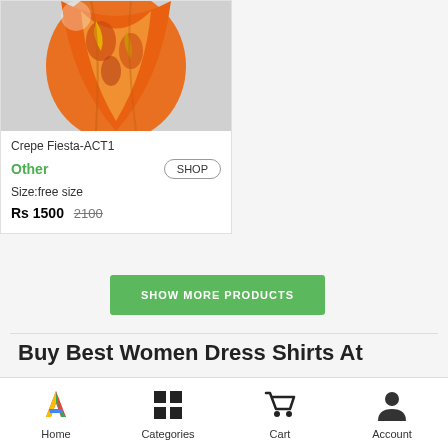[Figure (photo): Product photo of an orange crepe fiesta dress/shirt with floral pattern]
Crepe Fiesta-ACT1
Other
SHOP
Size:free size
Rs 1500  2100
SHOW MORE PRODUCTS
Buy Best Women Dress Shirts At
Home  Categories  Cart  Account